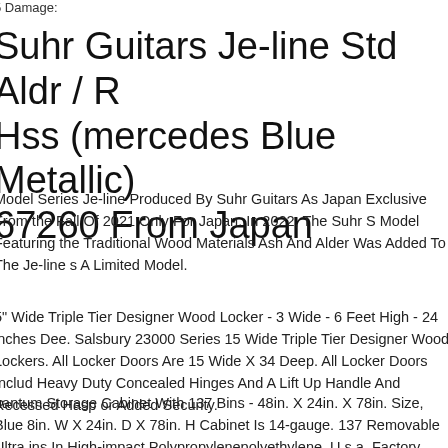5 Damage:
Suhr Guitars Je-line Std Aldr / R Hss (mercedes Blue Metallic) 67260 From Japan
Model Series Je-line Produced By Suhr Guitars As Japan Exclusive From the Fall Of 2021 Only For Japan. In 2022, The Suhr S Model Featuring the Traditional Wood Materials Ash And Alder Was Added To The Je-line s A Limited Model.
5" Wide Triple Tier Designer Wood Locker - 3 Wide - 6 Feet High - 24 inches Dee. Salsbury 23000 Series 15 Wide Triple Tier Designer Wood Lockers. All Locker Doors Are 15 Wide X 34 Deep. All Locker Doors Include Heavy Duty Concealed Hinges And A Lift Up Handle And Recessed Hasp For Added Security.
Quantum Storage Cabinet With 137 Bins - 48in. X 24in. X 78in. Size, Blue 48in. W X 24in. D X 78in. H Cabinet Is 14-gauge. 137 Removable Ultra Bins In High-impact Polypropylenepolyethylene. U.s.a. Factory Shipped. Material Steel. Bins Included Qty. 137. Shelves Qty. 3. Dimensions W X D...